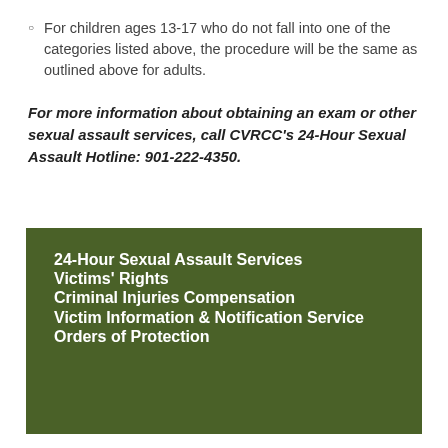For children ages 13-17 who do not fall into one of the categories listed above, the procedure will be the same as outlined above for adults.
For more information about obtaining an exam or other sexual assault services, call CVRCC's 24-Hour Sexual Assault Hotline: 901-222-4350.
24-Hour Sexual Assault Services
Victims' Rights
Criminal Injuries Compensation
Victim Information & Notification Service
Orders of Protection